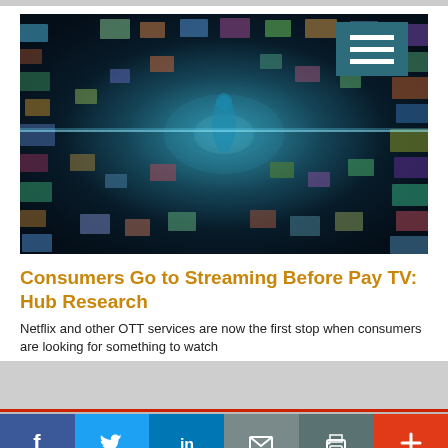[Figure (photo): A dramatic wide-angle photo showing a vast tunnel-like corridor lined with hundreds of glowing screens and digital displays, creating a futuristic streaming/media concept image.]
Consumers Go to Streaming Before Pay TV: Hub Research
Netflix and other OTT services are now the first stop when consumers are looking for something to watch
[Figure (infographic): Social media share bar with Facebook, Twitter, LinkedIn, Email, Print, and Plus icons]